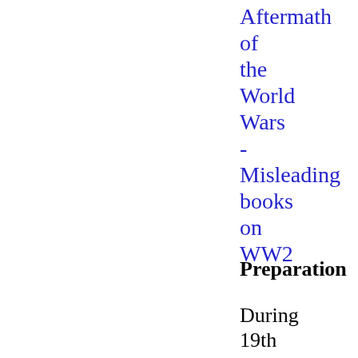Aftermath of the World Wars - Misleading books on WW2
Preparation
During 19th century the